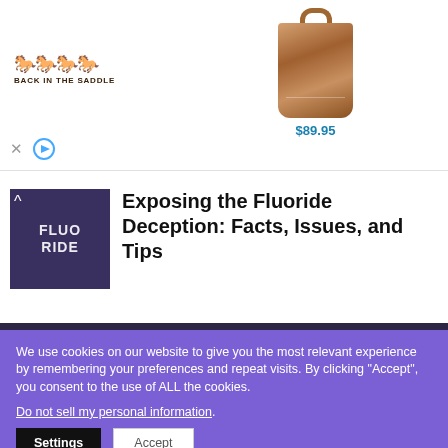[Figure (photo): Back In The Saddle advertisement banner with horse logo and brown leather tote bag priced at $89.95]
Exposing the Fluoride Deception: Facts, Issues, and Tips
SOLANCHA
We use cookies on our website to give you the most relevant experience by remembering your preferences and repeat visits. By clicking “Accept”, you consent to the use of ALL the cookies.
Do not sell my personal information.
Settings
Accept